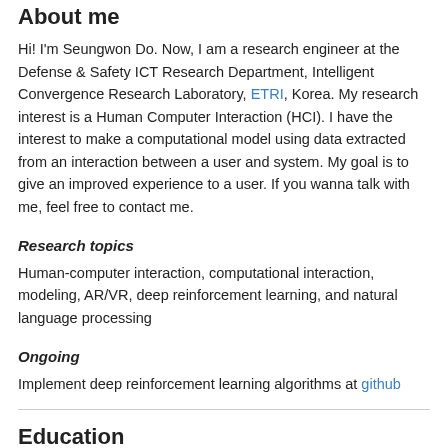About me
Hi! I'm Seungwon Do. Now, I am a research engineer at the Defense & Safety ICT Research Department, Intelligent Convergence Research Laboratory, ETRI, Korea. My research interest is a Human Computer Interaction (HCI). I have the interest to make a computational model using data extracted from an interaction between a user and system. My goal is to give an improved experience to a user. If you wanna talk with me, feel free to contact me.
Research topics
Human-computer interaction, computational interaction, modeling, AR/VR, deep reinforcement learning, and natural language processing
Ongoing
Implement deep reinforcement learning algorithms at github
Education